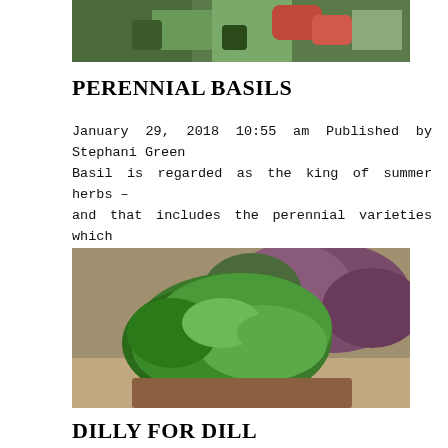[Figure (photo): Partial view of a garden plant with green and reddish foliage at the top of the page]
PERENNIAL BASILS
January 29, 2018 10:55 am Published by Stephani Green Basil is regarded as the king of summer herbs – and that includes the perennial varieties which have as manyRead More...
[Figure (photo): Photo of a bushy green dill or fennel-like herb plant with purple and red foliage in the background, in a garden setting]
DILLY FOR DILL
January 29, 2018 10:35 am Published by Jonathan Gouws